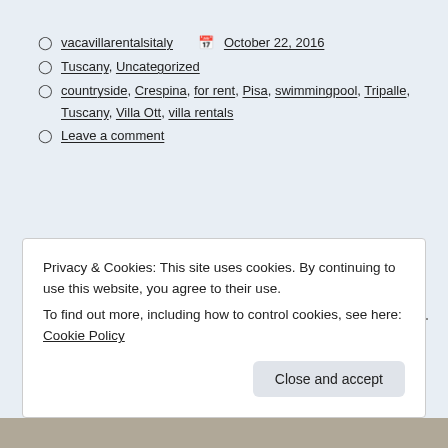vacavillarentalsitaly   October 22, 2016
Tuscany, Uncategorized
countryside, Crespina, for rent, Pisa, swimmingpool, Tripalle, Tuscany, Villa Ott, villa rentals
Leave a comment
The antique markets in Tuscany, Arezzo, Lucca
Privacy & Cookies: This site uses cookies. By continuing to use this website, you agree to their use.
To find out more, including how to control cookies, see here: Cookie Policy
[Figure (photo): Partial photo strip at bottom of page]